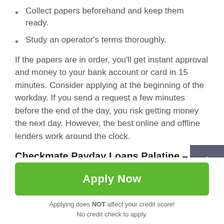Collect papers beforehand and keep them ready.
Study an operator's terms thoroughly.
If the papers are in order, you'll get instant approval and money to your bank account or card in 15 minutes. Consider applying at the beginning of the workday. If you send a request a few minutes before the end of the day, you risk getting money the next day. However, the best online and offline lenders work around the clock.
Checkmate Payday Loans Palatine – Can You Deal with Several Lenders at a Time?
Palatine payday loans online and in-store companies
Apply Now
Applying does NOT affect your credit score!
No credit check to apply.